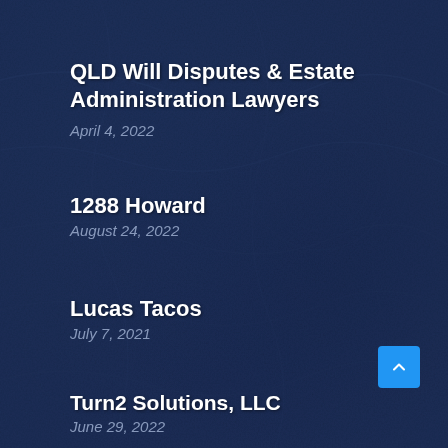QLD Will Disputes & Estate Administration Lawyers
April 4, 2022
1288 Howard
August 24, 2022
Lucas Tacos
July 7, 2021
Turn2 Solutions, LLC
June 29, 2022
U-Store-It Self Storage